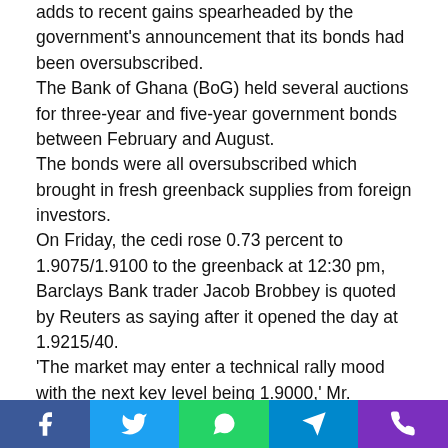adds to recent gains spearheaded by the government's announcement that its bonds had been oversubscribed. The Bank of Ghana (BoG) held several auctions for three-year and five-year government bonds between February and August. The bonds were all oversubscribed which brought in fresh greenback supplies from foreign investors. On Friday, the cedi rose 0.73 percent to 1.9075/1.9100 to the greenback at 12:30 pm, Barclays Bank trader Jacob Brobbey is quoted by Reuters as saying after it opened the day at 1.9215/40. 'The market may enter a technical rally mood with the next key level being 1.9000,' Mr. Brobbey said. The currency of the gold and oil exporter, which had slumped more than 20 percent versus the dollar earlier this year, began its recovery in July following liquidity tightening by the Central
Facebook Twitter WhatsApp Telegram Phone